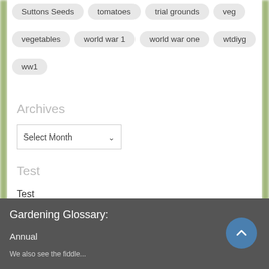Suttons Seeds
tomatoes
trial grounds
veg
vegetables
world war 1
world war one
wtdiyg
ww1
Archives
Select Month
Test
Test
Gardening Glossary:
Annual
We also see the fiddle...